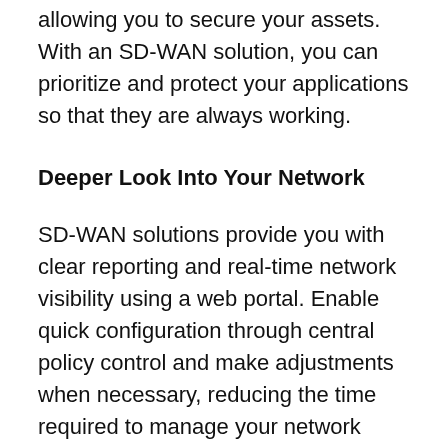allowing you to secure your assets. With an SD-WAN solution, you can prioritize and protect your applications so that they are always working.
Deeper Look Into Your Network
SD-WAN solutions provide you with clear reporting and real-time network visibility using a web portal. Enable quick configuration through central policy control and make adjustments when necessary, reducing the time required to manage your network configurations.
Allows You To Be Cost-Effective
You can choose the right combination of performance and cost. Based on the location's